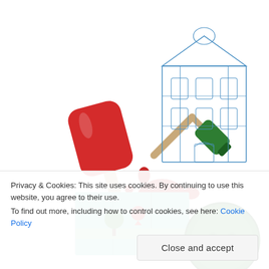[Figure (illustration): Collection of colorful flat and sketch-style icons: red popsicle/ice cream bar, green paint roller, red paint splatter, silver fork, blue sketch of a Victorian building, teal folded map with red location pin and tree, green button with four holes.]
Privacy & Cookies: This site uses cookies. By continuing to use this website, you agree to their use.
To find out more, including how to control cookies, see here: Cookie Policy
Close and accept